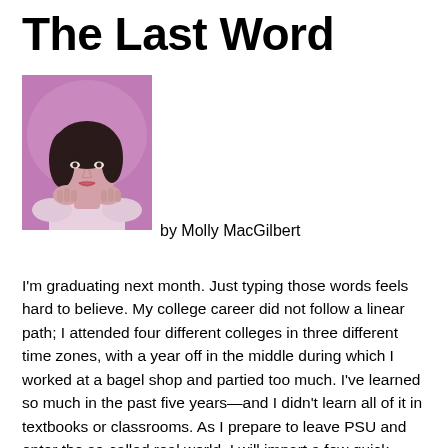The Last Word
[Figure (photo): Headshot photo of Molly MacGilbert, a young woman with dark hair resting her chin on her hands, against a purple/pink background]
by Molly MacGilbert
I'm graduating next month. Just typing those words feels hard to believe. My college career did not follow a linear path; I attended four different colleges in three different time zones, with a year off in the middle during which I worked at a bagel shop and partied too much. I've learned so much in the past five years—and I didn't learn all of it in textbooks or classrooms. As I prepare to leave PSU and enter the so-called real world, I will impart a few quick lessons I wish I could've told my freshman self: